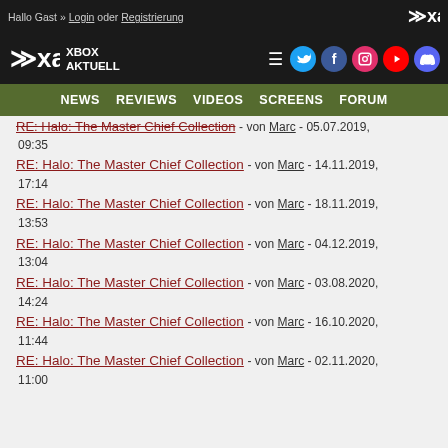Hallo Gast » Login oder Registrierung
[Figure (logo): Xbox Aktuell logo with XA letters and social media icons (Twitter, Facebook, Instagram, YouTube, Discord)]
NEWS  REVIEWS  VIDEOS  SCREENS  FORUM
RE: Halo: The Master Chief Collection - von Marc - 05.07.2019, 09:35
RE: Halo: The Master Chief Collection - von Marc - 14.11.2019, 17:14
RE: Halo: The Master Chief Collection - von Marc - 18.11.2019, 13:53
RE: Halo: The Master Chief Collection - von Marc - 04.12.2019, 13:04
RE: Halo: The Master Chief Collection - von Marc - 03.08.2020, 14:24
RE: Halo: The Master Chief Collection - von Marc - 16.10.2020, 11:44
RE: Halo: The Master Chief Collection - von Marc - 02.11.2020, 11:00